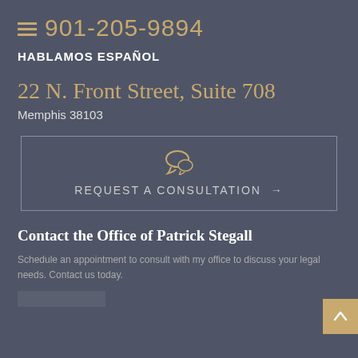901-205-9894
HABLAMOS ESPAÑOL
22 N. Front Street, Suite 708
Memphis 38103
REQUEST A CONSULTATION →
Contact the Office of Patrick Stegall
Schedule an appointment to consult with my office to discuss your legal needs. Contact us today.